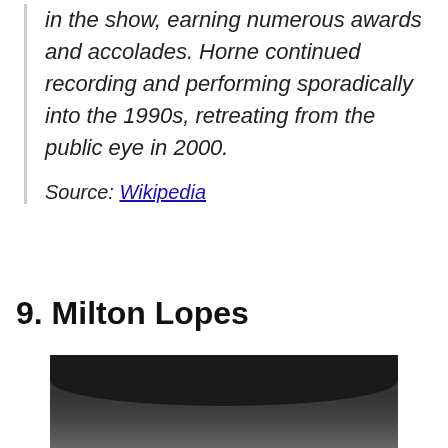in the show, earning numerous awards and accolades. Horne continued recording and performing sporadically into the 1990s, retreating from the public eye in 2000.
Source: Wikipedia
9. Milton Lopes
[Figure (photo): Black and white photo of Milton Lopes, showing the top of his head with dark hair]